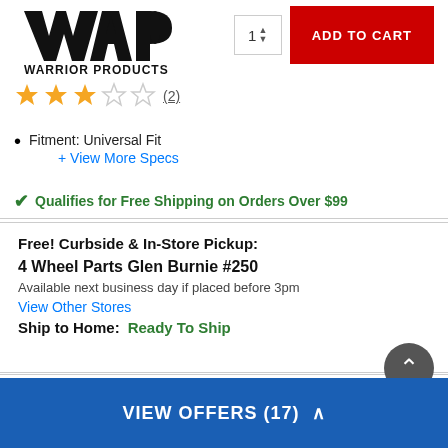[Figure (logo): Warrior Products logo with stylized WAP letters and text WARRIOR PRODUCTS below]
ADD TO CART
[Figure (other): 3 filled gold stars and 2 empty stars rating]
(2)
Fitment: Universal Fit
+ View More Specs
✓ Qualifies for Free Shipping on Orders Over $99
Free! Curbside & In-Store Pickup:
4 Wheel Parts Glen Burnie #250
Available next business day if placed before 3pm
View Other Stores
Ship to Home:  Ready To Ship
Want this professionally installed? ?
VIEW OFFERS (17) ∧